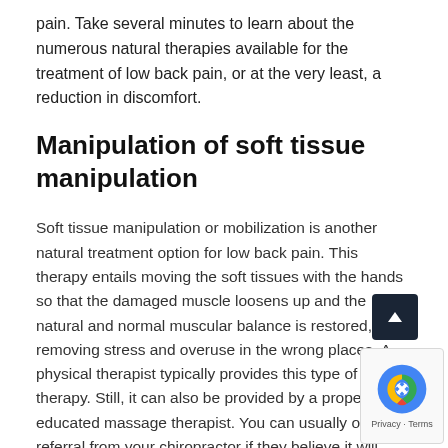pain. Take several minutes to learn about the numerous natural therapies available for the treatment of low back pain, or at the very least, a reduction in discomfort.
Manipulation of soft tissue manipulation
Soft tissue manipulation or mobilization is another natural treatment option for low back pain. This therapy entails moving the soft tissues with the hands so that the damaged muscle loosens up and the natural and normal muscular balance is restored, removing stress and overuse in the wrong places. A physical therapist typically provides this type of therapy. Still, it can also be provided by a properly educated massage therapist. You can usually obtain a referral from your chiropractor if they believe it will benefit your specific cause of low back pain. Click here https://melbournenaturaltherapies.com.au and for more